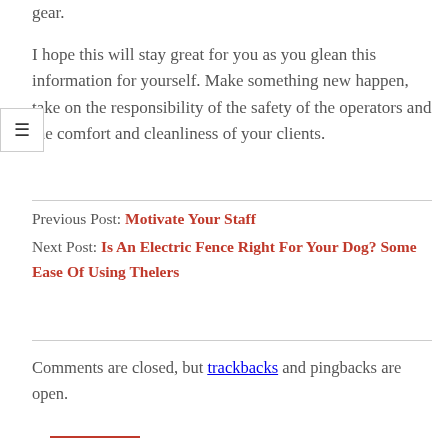gear.
I hope this will stay great for you as you glean this information for yourself. Make something new happen, take on the responsibility of the safety of the operators and the comfort and cleanliness of your clients.
Previous Post: Motivate Your Staff
Next Post: Is An Electric Fence Right For Your Dog? Some Ease Of Using Thelers
Comments are closed, but trackbacks and pingbacks are open.